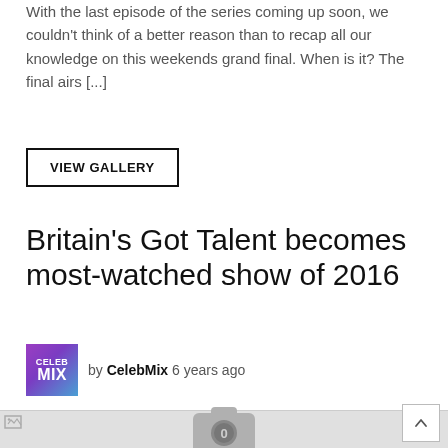With the last episode of the series coming up soon, we couldn't think of a better reason than to recap all our knowledge on this weekends grand final. When is it? The final airs [...]
VIEW GALLERY
Britain's Got Talent becomes most-watched show of 2016
by CelebMix 6 years ago
[Figure (photo): Placeholder image with broken image icon and camera icon showing 0]